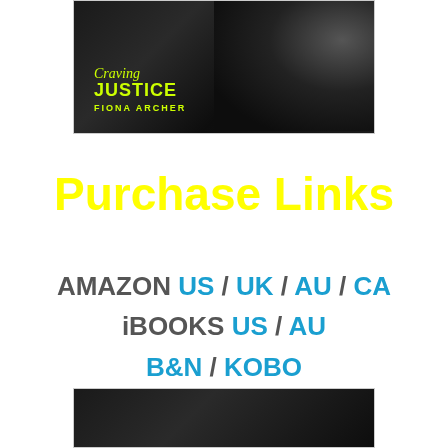[Figure (illustration): Book cover for 'Craving Justice' by Fiona Archer — dark background with silhouette of a person's face/neck, title in yellow-green text]
Purchase Links
AMAZON US / UK / AU / CA
iBooks US / AU
B&N / KOBO
[Figure (illustration): Partial book cover image at the bottom of the page, dark background]